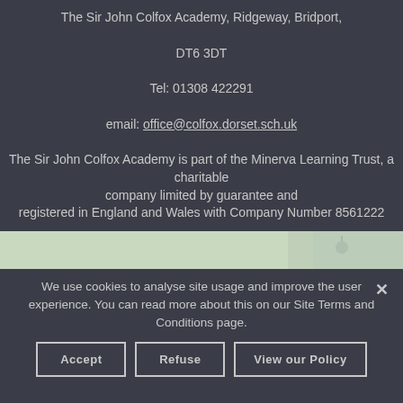The Sir John Colfox Academy, Ridgeway, Bridport,
DT6 3DT
Tel: 01308 422291
email: office@colfox.dorset.sch.uk
The Sir John Colfox Academy is part of the Minerva Learning Trust, a charitable company limited by guarantee and registered in England and Wales with Company Number 8561222
[Figure (map): Partial view of a map showing a light green area]
We use cookies to analyse site usage and improve the user experience. You can read more about this on our Site Terms and Conditions page.
Accept
Refuse
View our Policy